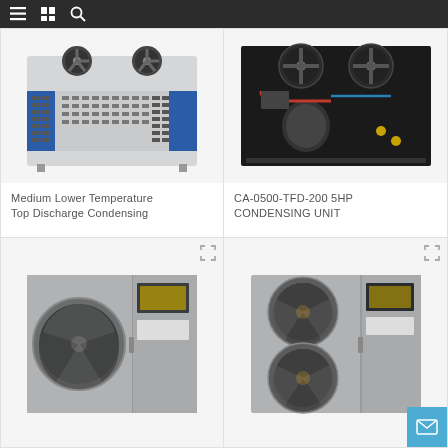Navigation bar with menu, catalog, and search icons
[Figure (photo): Medium Lower Temperature Top Discharge Condensing Unit - white and blue rectangular unit with two top fans and grid vents on front]
Medium Lower Temperature Top Discharge Condensing
[Figure (photo): CA-0500-TFD-200 5HP CONDENSING UNIT - industrial condensing unit with two fans, compressor, and refrigerant piping on black frame]
CA-0500-TFD-200 5HP CONDENSING UNIT
[Figure (photo): Gray wall-mounted condensing unit with single large circular fan on front panel]
[Figure (photo): Gray wall-mounted condensing unit with two circular fans stacked vertically on front panel]